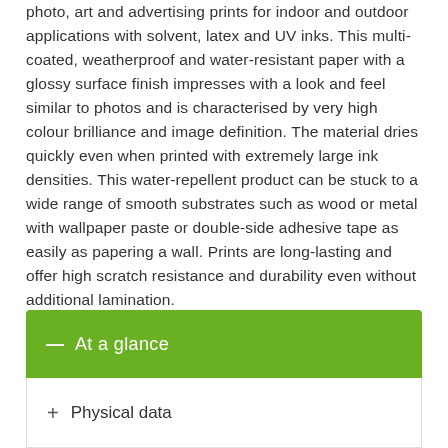photo, art and advertising prints for indoor and outdoor applications with solvent, latex and UV inks. This multi-coated, weatherproof and water-resistant paper with a glossy surface finish impresses with a look and feel similar to photos and is characterised by very high colour brilliance and image definition. The material dries quickly even when printed with extremely large ink densities. This water-repellent product can be stuck to a wide range of smooth substrates such as wood or metal with wallpaper paste or double-side adhesive tape as easily as papering a wall. Prints are long-lasting and offer high scratch resistance and durability even without additional lamination.
— At a glance
+ Physical data